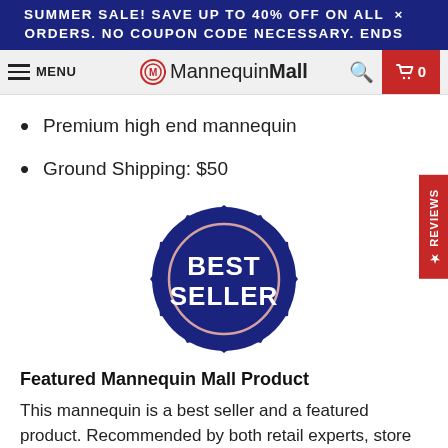SUMMER SALE! SAVE UP TO 40% OFF ON ALL ORDERS. NO COUPON CODE NECESSARY. ENDS
MENU | MannequinMall | 0
Premium high end mannequin
Ground Shipping: $50
[Figure (illustration): A dark navy blue circular badge/seal with the text BEST SELLER in large white bold letters, with a decorative gear/starburst border around the outer edge and a concentric inner circle ring.]
Featured Mannequin Mall Product
This mannequin is a best seller and a featured product. Recommended by both retail experts, store owners, and professionals.